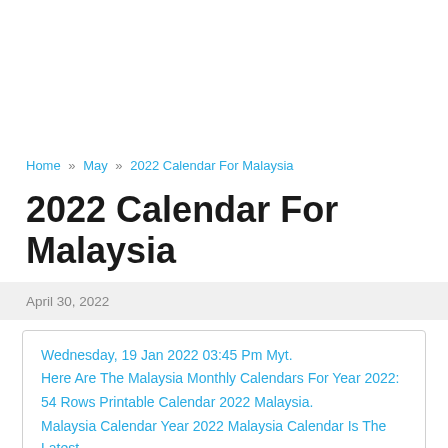Home » May » 2022 Calendar For Malaysia
2022 Calendar For Malaysia
April 30, 2022
Wednesday, 19 Jan 2022 03:45 Pm Myt.
Here Are The Malaysia Monthly Calendars For Year 2022:
54 Rows Printable Calendar 2022 Malaysia.
Malaysia Calendar Year 2022 Malaysia Calendar Is The Latest Calendar That You Can Find.
These Dates May Be Modified As Official Changes Are Announced,